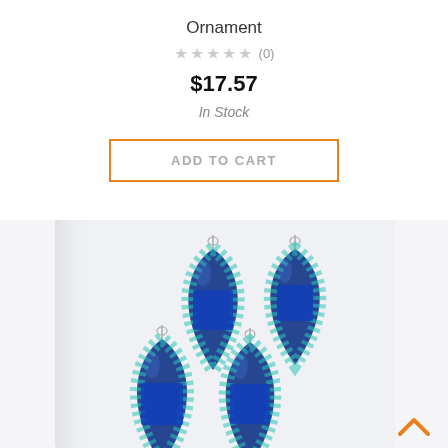Ornament
★★★★★ (0)
$17.57
In Stock
ADD TO CART
[Figure (photo): Four blue and teal checkered teardrop/marquise shaped Christmas ornaments hanging, two in the back row and two in the front row, on a light background.]